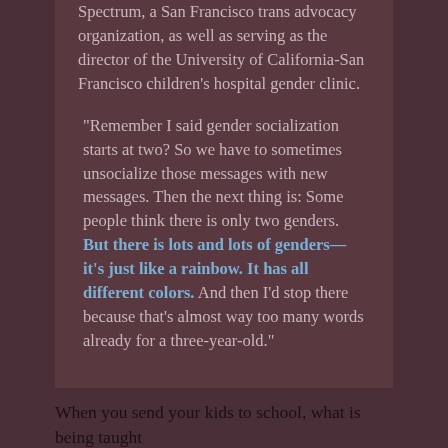Spectrum, a San Francisco trans advocacy organization, as well as serving as the director of the University of California-San Francisco children's hospital gender clinic.
“Remember I said gender socialization starts at two? So we have to sometimes unsocialize those messages with new messages. Then the next thing is: Some people think there is only two genders. But there is lots and lots of genders—it’s just like a rainbow. It has all different colors. And then I’d stop there because that’s almost way too many words already for a three-year-old.”
When you send your kids to school, what is being taught